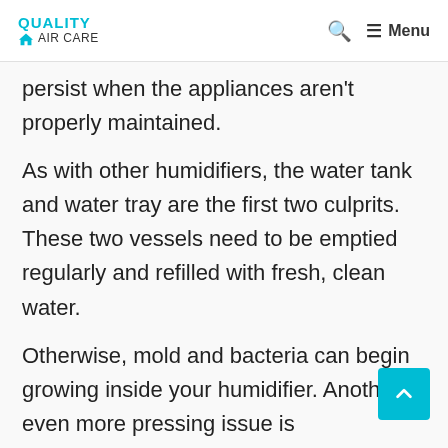QUALITY AIR CARE
persist when the appliances aren't properly maintained.
As with other humidifiers, the water tank and water tray are the first two culprits. These two vessels need to be emptied regularly and refilled with fresh, clean water.
Otherwise, mold and bacteria can begin growing inside your humidifier. Another even more pressing issue is